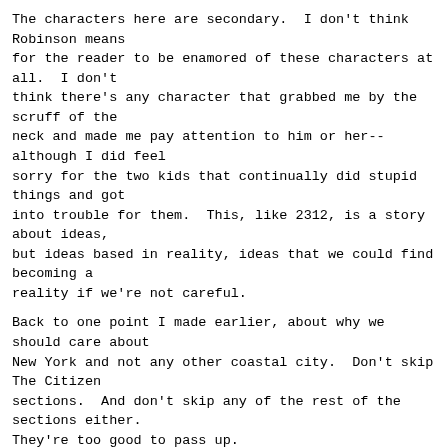The characters here are secondary.  I don't think Robinson means
for the reader to be enamored of these characters at all.  I don't
think there's any character that grabbed me by the scruff of the
neck and made me pay attention to him or her--although I did feel
sorry for the two kids that continually did stupid things and got
into trouble for them.  This, like 2312, is a story about ideas,
but ideas based in reality, ideas that we could find becoming a
reality if we're not careful.
Back to one point I made earlier, about why we should care about
New York and not any other coastal city.  Don't skip The Citizen
sections.  And don't skip any of the rest of the sections either.
They're too good to pass up.
This is the first audiobook I've listened to that has more than a
couple of narrators.  There are seven of them, and they are all
wonderful.  While I haven't taken the time to learn
which narrators